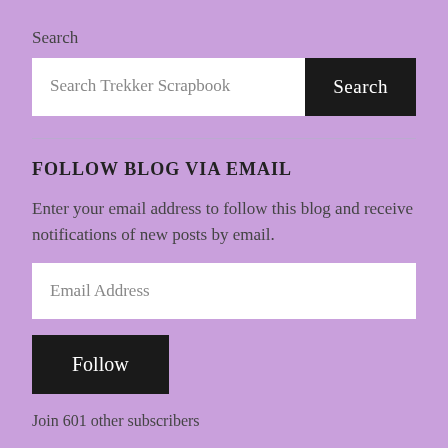Search
Search Trekker Scrapbook
Search
FOLLOW BLOG VIA EMAIL
Enter your email address to follow this blog and receive notifications of new posts by email.
Email Address
Follow
Join 601 other subscribers